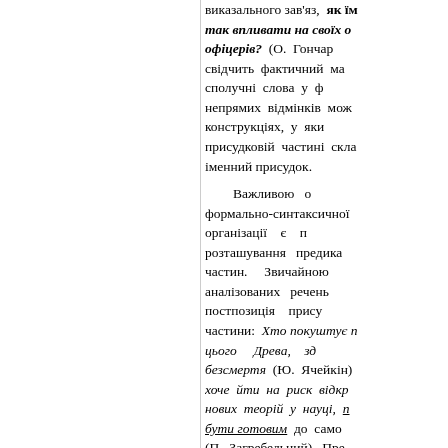виказального зав'яз, як їм так впливати на своїх б офіцерів? (О. Гончар свідчить фактичний ма сполучні слова у фо непрямих відмінків мож конструкціях, у яки присудковій частині скла іменний присудок.
Важливою о формально-синтаксичної організації є п розташування преди частин. Звичайною аналізованих речень постпозиція прису частини: Хто покуштує п цього Древа, зд безсмертя (Ю. Ячейкін) хоче йти на риск відкр нових теорій у науці, п бути готовим до само (П. Загребельний). Пре присудкової частини мо але нетипова: Було ясн це все була психологічного наступу і той наступ психоло скінчився (І. Багряний); Бі хто не судив справедливо